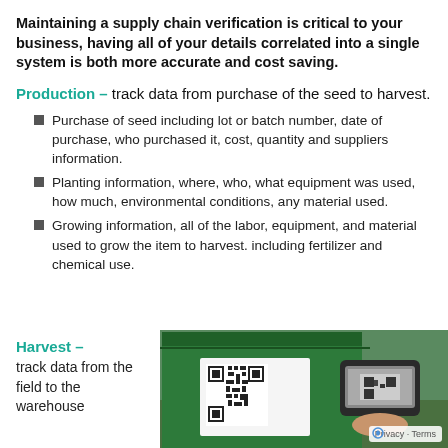Maintaining a supply chain verification is critical to your business, having all of your details correlated into a single system is both more accurate and cost saving.
Production – track data from purchase of the seed to harvest.
Purchase of seed including lot or batch number, date of purchase, who purchased it, cost, quantity and suppliers information.
Planting information, where, who, what equipment was used, how much, environmental conditions, any material used.
Growing information, all of the labor, equipment, and material used to grow the item to harvest. including fertilizer and chemical use.
Harvest – track data from the field to the warehouse
[Figure (photo): A green bin/container with a QR code label on it, and a person holding a handheld device (scanner/phone) scanning the QR code. Green vegetation visible in background.]